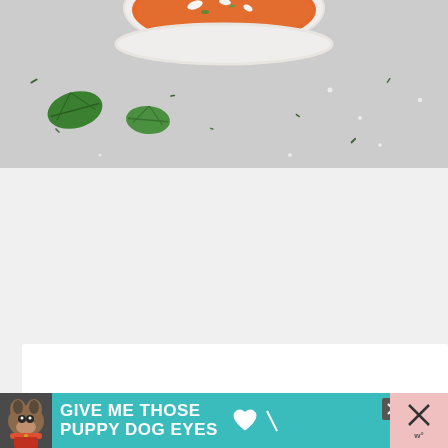[Figure (photo): Overhead view of tomato soup in a white bowl with basil leaves and herbs scattered on a gray surface]
[Figure (other): White card content area with like button (heart icon, teal circle), share button, count 28.9K]
[Figure (other): Advertisement banner: dog with text GIVE ME THOSE PUPPY DOG EYES on teal background, with close button]